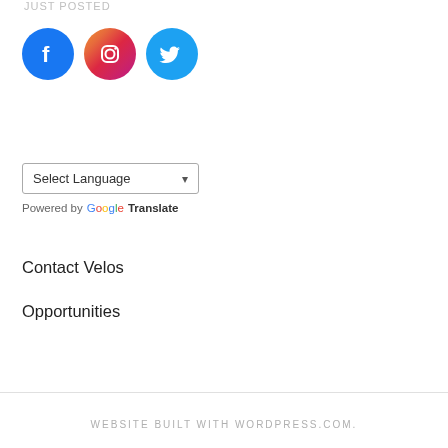JUST POSTED
[Figure (logo): Three social media icons in circles: Facebook (blue), Instagram (pink/magenta gradient), Twitter (light blue)]
[Figure (other): Google Translate language selector widget with dropdown showing 'Select Language' and 'Powered by Google Translate']
Contact Velos
Opportunities
WEBSITE BUILT WITH WORDPRESS.COM.